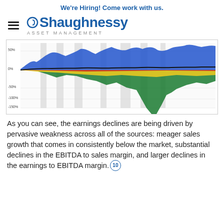We're Hiring! Come work with us.
[Figure (logo): O'Shaughnessy Asset Management logo with hamburger menu icon]
[Figure (area-chart): Multi-color area chart showing earnings components over time (blue, green, yellow, red areas with black line), y-axis from -150% to 50%, x-axis shows dates, with gray recession bars]
As you can see, the earnings declines are being driven by pervasive weakness across all of the sources: meager sales growth that comes in consistently below the market, substantial declines in the EBITDA to sales margin, and larger declines in the earnings to EBITDA margin.¹°